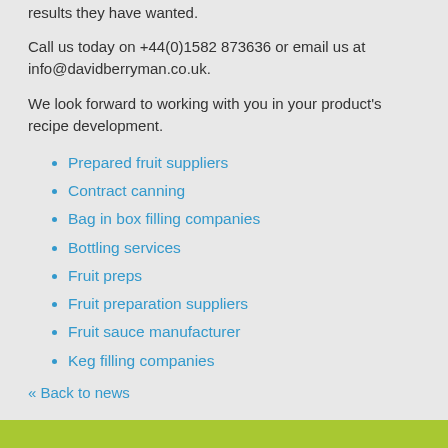results they have wanted.
Call us today on +44(0)1582 873636 or email us at info@davidberryman.co.uk.
We look forward to working with you in your product's recipe development.
Prepared fruit suppliers
Contract canning
Bag in box filling companies
Bottling services
Fruit preps
Fruit preparation suppliers
Fruit sauce manufacturer
Keg filling companies
« Back to news